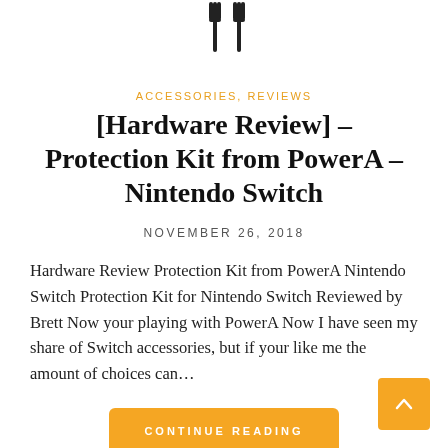[Figure (illustration): Two fork-like icons at the top center of the page]
ACCESSORIES, REVIEWS
[Hardware Review] – Protection Kit from PowerA – Nintendo Switch
NOVEMBER 26, 2018
Hardware Review Protection Kit from PowerA Nintendo Switch Protection Kit for Nintendo Switch Reviewed by Brett Now your playing with PowerA Now I have seen my share of Switch accessories, but if your like me the amount of choices can…
CONTINUE READING